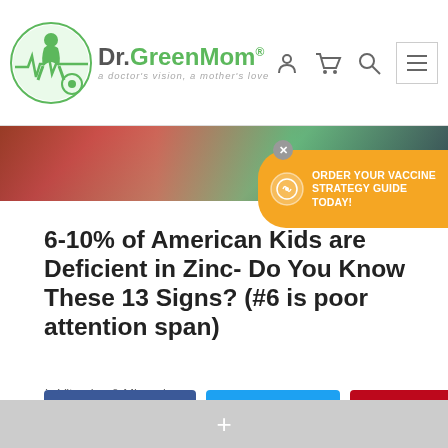Dr.GreenMom® — a doctor's vision, a mother's love
[Figure (photo): Hero banner image showing a child in classroom setting with green and dark background]
[Figure (infographic): Orange CTA bubble with vaccine strategy guide icon and text: ORDER YOUR VACCINE STRATEGY GUIDE TODAY!]
6-10% of American Kids are Deficient in Zinc- Do You Know These 13 Signs? (#6 is poor attention span)
in Vitamins & Minerals
[Figure (infographic): Social share buttons: Facebook 0, Twitter 0, Pinterest 0]
+